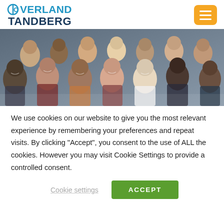[Figure (logo): Overland Tandberg logo with circular icon in blue and dark navy text]
[Figure (photo): Group photo of diverse smiling business professionals looking up at camera]
We use cookies on our website to give you the most relevant experience by remembering your preferences and repeat visits. By clicking “Accept”, you consent to the use of ALL the cookies. However you may visit Cookie Settings to provide a controlled consent.
Cookie settings
ACCEPT